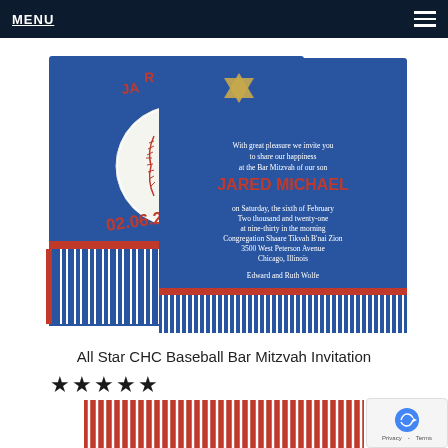MENU
[Figure (photo): All Star CHC Baseball Bar Mitzvah Invitation product photo showing two overlapping blue invitation cards with baseball and Star of David design, pinstripe pattern, featuring 'JARED MICHAEL' name in red and gold text with date 02.06.2021]
All Star CHC Baseball Bar Mitzvah Invitation
★★★★★
[Figure (photo): Partial view of another baseball-themed Bar Mitzvah invitation with red and white pinstripes]